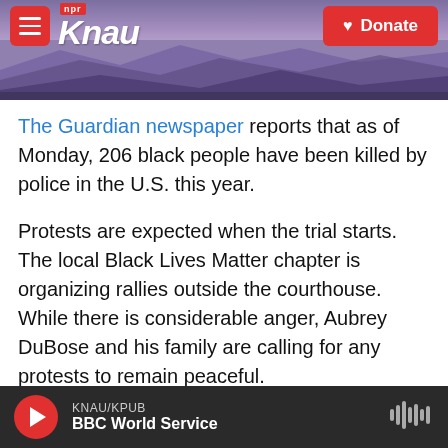[Figure (screenshot): KNAU NPR radio website header with purple mountain landscape background, hamburger menu button, KNAU logo in white italic with NPR label in red, and red Donate button]
The Guardian newspaper reports that as of Monday, 206 black people have been killed by police in the U.S. this year.
Protests are expected when the trial starts. The local Black Lives Matter chapter is organizing rallies outside the courthouse. While there is considerable anger, Aubrey DuBose and his family are calling for any protests to remain peaceful.
"We got to find new ways to come together and blend cop/African-American relationships," said DuBose. "And the justice system has to look at
KNAU/KPUB
BBC World Service